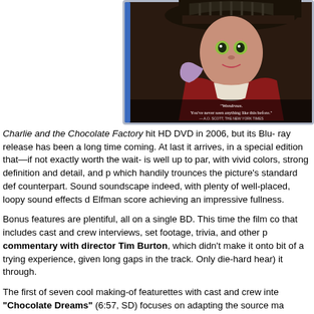[Figure (photo): Blu-ray disc case for Charlie and the Chocolate Factory showing Johnny Depp as the Mad Hatter character with quote 'Wondrous. You've never seen anything like this before.' — A.O. Scott, The New York Times]
Charlie and the Chocolate Factory hit HD DVD in 2006, but its Blu-ray release has been a long time coming. At last it arrives, in a special edition that—if not exactly worth the wait—is well up to par, with vivid colors, strong definition and detail, and p which handily trounces the picture's standard def counterpart. Sound soundscape indeed, with plenty of well-placed, loopy sound effects d Elfman score achieving an impressive fullness.
Bonus features are plentiful, all on a single BD. This time the film co that includes cast and crew interviews, set footage, trivia, and other p commentary with director Tim Burton, which didn't make it onto bit of a trying experience, given long gaps in the track. Only die-hard hear) it through.
The first of seven cool making-of featurettes with cast and crew inte "Chocolate Dreams" (6:57, SD) focuses on adapting the source ma (12:54, SD) dives into production including interviews with Johnny D